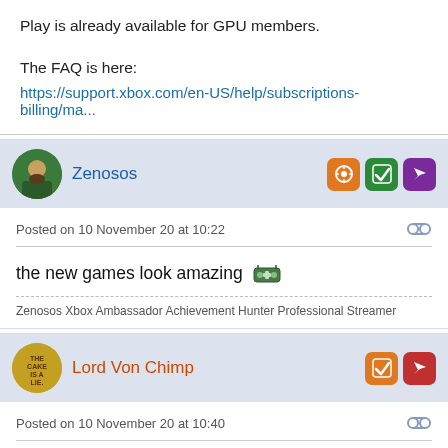Play is already available for GPU members.
The FAQ is here:
https://support.xbox.com/en-US/help/subscriptions-billing/ma...
Zenosos
Posted on 10 November 20 at 10:22
the new games look amazing 🤖
Zenosos Xbox Ambassador Achievement Hunter Professional Streamer
Lord Von Chimp
Posted on 10 November 20 at 10:40
Where's star wars fallen order? Was hoping to get it